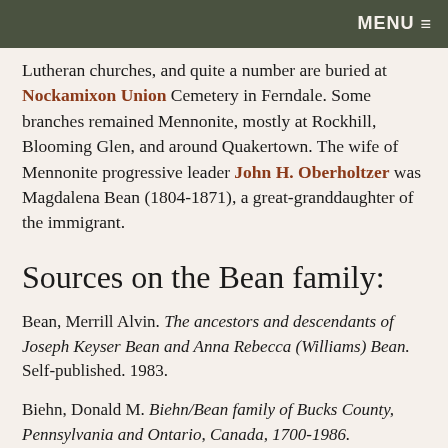MENU≡
Lutheran churches, and quite a number are buried at Nockamixon Union Cemetery in Ferndale. Some branches remained Mennonite, mostly at Rockhill, Blooming Glen, and around Quakertown. The wife of Mennonite progressive leader John H. Oberholtzer was Magdalena Bean (1804-1871), a great-granddaughter of the immigrant.
Sources on the Bean family:
Bean, Merrill Alvin. The ancestors and descendants of Joseph Keyser Bean and Anna Rebecca (Williams) Bean. Self-published. 1983.
Biehn, Donald M. Biehn/Bean family of Bucks County, Pennsylvania and Ontario, Canada, 1700-1986. Baltimore: Gateway Press. 1987.